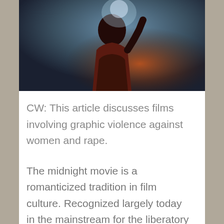[Figure (photo): A darkly lit figure in a red coat seen from behind against a moody blue and orange background, possibly a movie still or promotional image.]
CW: This article discusses films involving graphic violence against women and rape.
The midnight movie is a romanticized tradition in film culture. Recognized largely today in the mainstream for the liberatory audience participation of The Rocky Horror Picture Show (1975), the